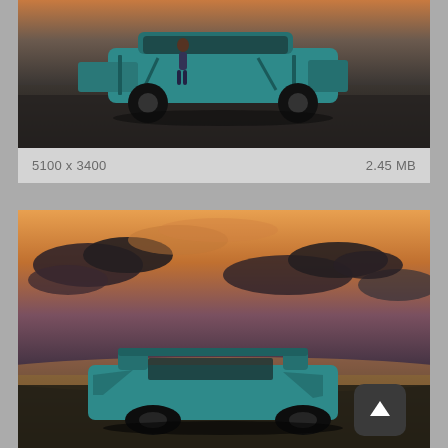[Figure (photo): Teal SUV concept car with all doors open, side view, on flat desert ground with dusky sky. Image shows '5100 x 3400' and '2.45 MB' metadata below.]
5100 x 3400
2.45 MB
[Figure (photo): Teal SUV concept car with doors open, viewed from the side, against a dramatic sunset sky with orange and purple clouds over a desert landscape.]